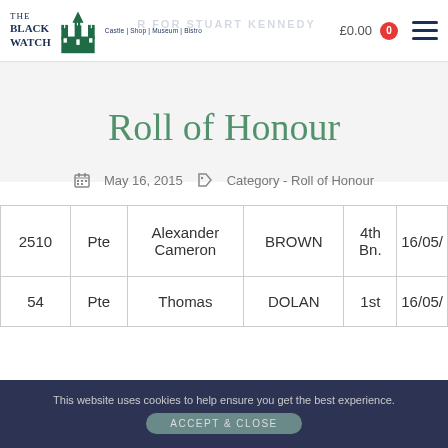The Black Watch Castle | Shop | Museum | Bistro — £0.00 cart
Roll of Honour
May 16, 2015   Category - Roll of Honour
|  | Rank | First Name | Surname | Bn. | Date |
| --- | --- | --- | --- | --- | --- |
| 2510 | Pte | Alexander Cameron | BROWN | 4th Bn. | 16/05/ |
| 54 | Pte | Thomas | DOLAN | 1st | 16/05/ |
This website uses cookies to help ensure you get the best experience.
ACCEPT & CLOSE